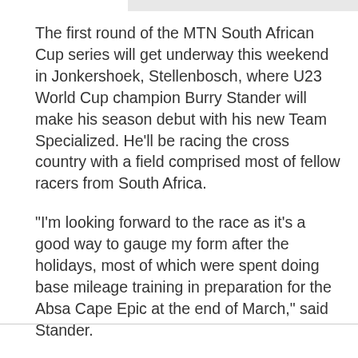The first round of the MTN South African Cup series will get underway this weekend in Jonkershoek, Stellenbosch, where U23 World Cup champion Burry Stander will make his season debut with his new Team Specialized. He'll be racing the cross country with a field comprised most of fellow racers from South Africa.
"I'm looking forward to the race as it's a good way to gauge my form after the holidays, most of which were spent doing base mileage training in preparation for the Absa Cape Epic at the end of March," said Stander.